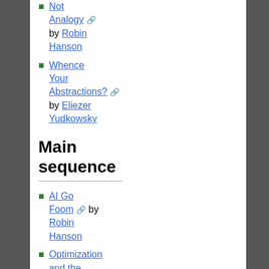Not Analogy [ext] by Robin Hanson
Whence Your Abstractions? [ext] by Eliezer Yudkowsky
Main sequence
AI Go Foom [ext] by Robin Hanson
Optimization and the Singularity [ext] by Eliezer Yudkowsky
Eliezer's Meta-Level